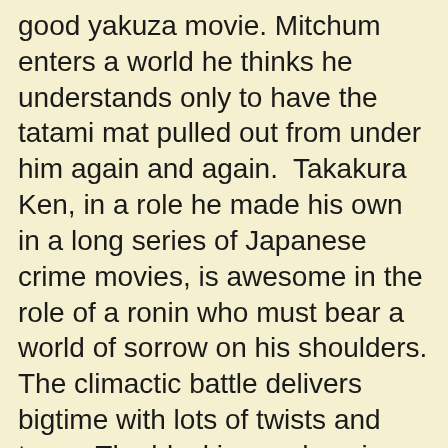good yakuza movie. Mitchum enters a world he thinks he understands only to have the tatami mat pulled out from under him again and again.  Takakura Ken, in a role he made his own in a long series of Japanese crime movies, is awesome in the role of a ronin who must bear a world of sorrow on his shoulders.
The climactic battle delivers bigtime with lots of twists and turns. The blocking and pacing show a keen understanding of what makes yakuza and chambara movies click. And it's kind of nice to see a movie where the